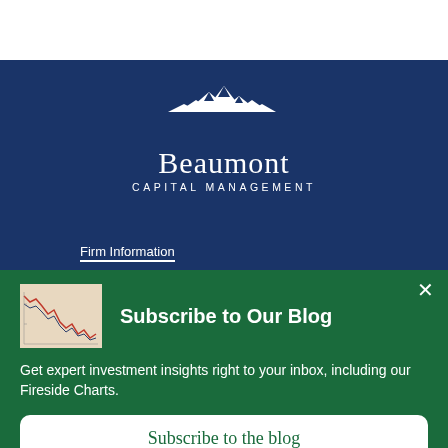[Figure (logo): Beaumont Capital Management logo with mountain graphic, white text on navy background]
Firm Information
[Figure (screenshot): Subscribe to Our Blog popup overlay on green background with thumbnail chart image, body text, and subscribe button]
Subscribe to Our Blog
Get expert investment insights right to your inbox, including our Fireside Charts.
Subscribe to the blog